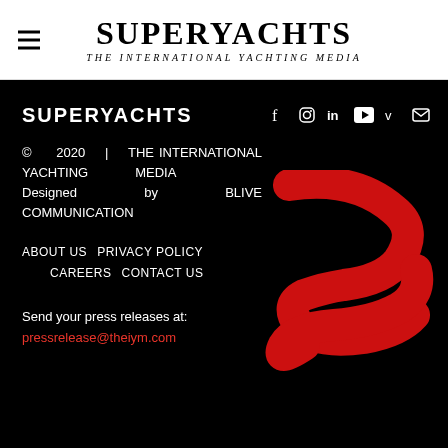SUPERYACHTS | THE INTERNATIONAL YACHTING MEDIA
SUPERYACHTS
© 2020 | THE INTERNATIONAL YACHTING MEDIA Designed by BLIVE COMMUNICATION
[Figure (logo): Superyachts SY red monogram logo on black background]
ABOUT US   PRIVACY POLICY   CAREERS   CONTACT US
Send your press releases at:
pressrelease@theiym.com